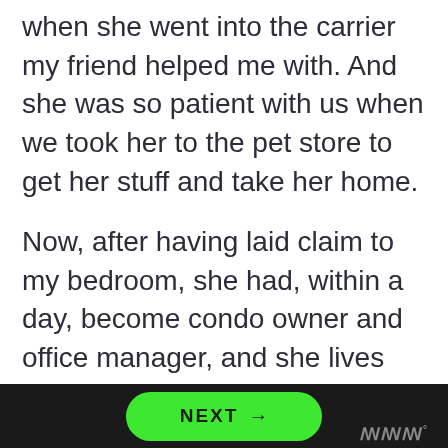when she went into the carrier my friend helped me with. And she was so patient with us when we took her to the pet store to get her stuff and take her home.
Now, after having laid claim to my bedroom, she had, within a day, become condo owner and office manager, and she lives the Life of Riley! She's an only kitty, and she's such a laid-back, sweet girl! I got her when she was 3, and now she is 8 years old, going on 9!